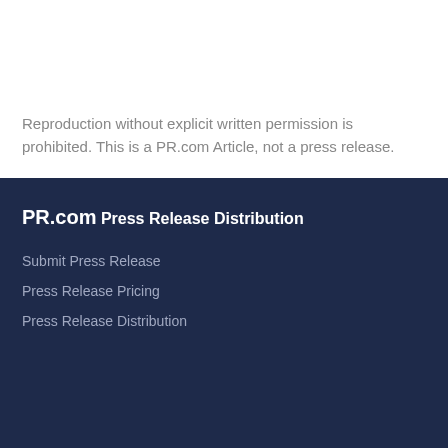Reproduction without explicit written permission is prohibited. This is a PR.com Article, not a press release.
PR.com
Press Release Distribution
Submit Press Release
Press Release Pricing
Press Release Distribution